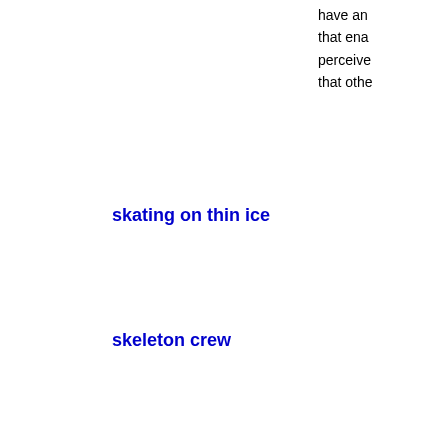have an that ena perceive that othe
skating on thin ice
skeleton crew